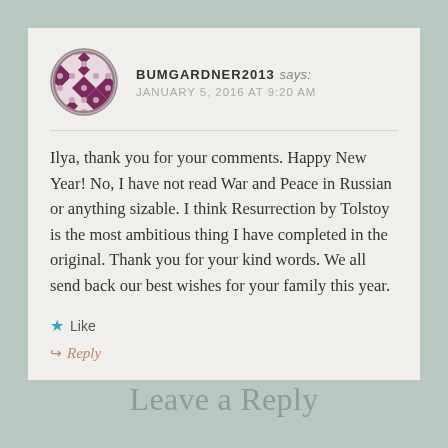BUMGARDNER2013 says: JANUARY 5, 2016 AT 9:20 AM
Ilya, thank you for your comments. Happy New Year! No, I have not read War and Peace in Russian or anything sizable. I think Resurrection by Tolstoy is the most ambitious thing I have completed in the original. Thank you for your kind words. We all send back our best wishes for your family this year.
★ Like
↪ Reply
Leave a Reply